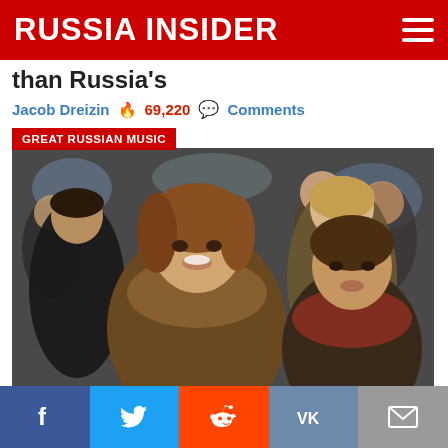RUSSIA INSIDER
than Russia's
Jacob Dreizin  🔥 69,220  💬 Comments
GREAT RUSSIAN MUSIC
[Figure (photo): Crowd of young smiling Russian people, apparently singing together at a public event. Two young women are prominently featured in the foreground.]
Beautiful! Russian Flashmob Sings Famous WW2 Song (Smuglyanka)
Mark Boden  🔥 64,997  💬 Comments